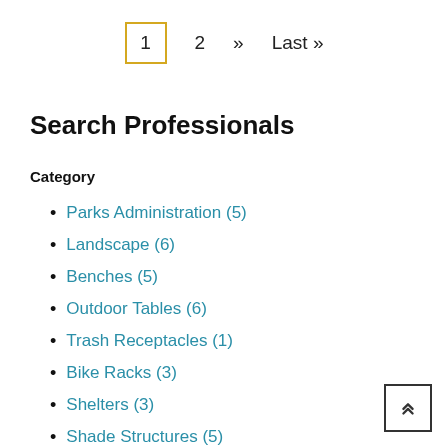1  2  »  Last »
Search Professionals
Category
Parks Administration (5)
Landscape (6)
Benches (5)
Outdoor Tables (6)
Trash Receptacles (1)
Bike Racks (3)
Shelters (3)
Shade Structures (5)
Restrooms (1)
Dog Park (1)
Skatepark (5)